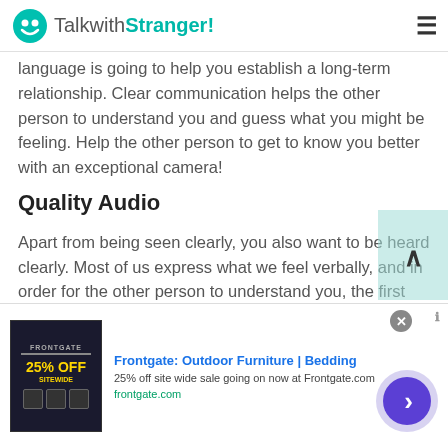TalkwithStranger!
language is going to help you establish a long-term relationship. Clear communication helps the other person to understand you and guess what you might be feeling. Help the other person to get to know you better with an exceptional camera!
Quality Audio
Apart from being seen clearly, you also want to be heard clearly. Most of us express what we feel verbally, and in order for the other person to understand you, the first step is to ensure you are being heard clearly. This means using your device's built-in microphone is not an option,
[Figure (other): Advertisement banner for Frontgate: Outdoor Furniture | Bedding, 25% off site wide sale, frontgate.com]